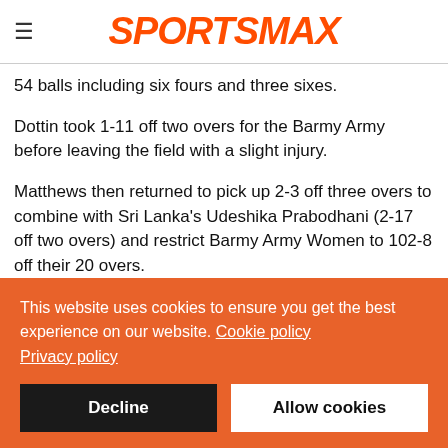SPORTSMAX
54 balls including six fours and three sixes.
Dottin took 1-11 off two overs for the Barmy Army before leaving the field with a slight injury.
Matthews then returned to pick up 2-3 off three overs to combine with Sri Lanka's Udeshika Prabodhani (2-17 off two overs) and restrict Barmy Army Women to 102-8 off their 20 overs.
Pakistanis Fatima Sana (34) and Rumana Ahmed (26 not out)
This website uses cookies to ensure you get the best experience on our website. Cookie policy Privacy policy
Decline
Allow cookies